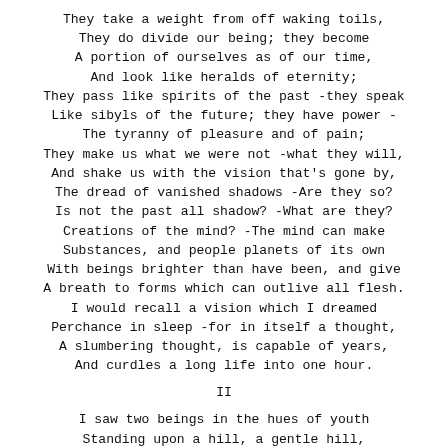They take a weight from off waking toils,
They do divide our being; they become
A portion of ourselves as of our time,
And look like heralds of eternity;
They pass like spirits of the past -they speak
Like sibyls of the future; they have power -
The tyranny of pleasure and of pain;
They make us what we were not -what they will,
And shake us with the vision that's gone by,
The dread of vanished shadows -Are they so?
Is not the past all shadow? -What are they?
Creations of the mind? -The mind can make
Substances, and people planets of its own
With beings brighter than have been, and give
A breath to forms which can outlive all flesh.
I would recall a vision which I dreamed
Perchance in sleep -for in itself a thought,
A slumbering thought, is capable of years,
And curdles a long life into one hour.
II
I saw two beings in the hues of youth
Standing upon a hill, a gentle hill,